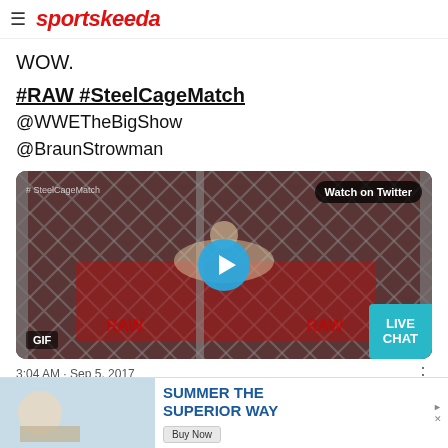sportskeeda
WOW.
#RAW #SteelCageMatch @WWETheBigShow @BraunStrowman
[Figure (screenshot): WWE Steel Cage Match video thumbnail showing a wrestler spread across the cage, with Watch on Twitter badge, play button, GIF label, and LIVE CHAT button overlay]
3:04 AM · Sep 5, 2017
[Figure (photo): Advertisement banner: SUMMER THE SUPERIOR WAY with Buy Now button]